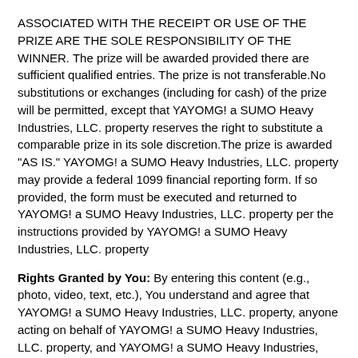ASSOCIATED WITH THE RECEIPT OR USE OF THE PRIZE ARE THE SOLE RESPONSIBILITY OF THE WINNER. The prize will be awarded provided there are sufficient qualified entries. The prize is not transferable.No substitutions or exchanges (including for cash) of the prize will be permitted, except that YAYOMG! a SUMO Heavy Industries, LLC. property reserves the right to substitute a comparable prize in its sole discretion.The prize is awarded "AS IS." YAYOMG! a SUMO Heavy Industries, LLC. property may provide a federal 1099 financial reporting form. If so provided, the form must be executed and returned to YAYOMG! a SUMO Heavy Industries, LLC. property per the instructions provided by YAYOMG! a SUMO Heavy Industries, LLC. property
Rights Granted by You: By entering this content (e.g., photo, video, text, etc.), You understand and agree that YAYOMG! a SUMO Heavy Industries, LLC. property, anyone acting on behalf of YAYOMG! a SUMO Heavy Industries, LLC. property, and YAYOMG! a SUMO Heavy Industries, LLC. property's licensees, successors, and assigns, shall have the right, where permitted by law, to print, publish, broadcast, distribute, and use in any media now known or hereafter developed, in perpetuity and throughout the World,